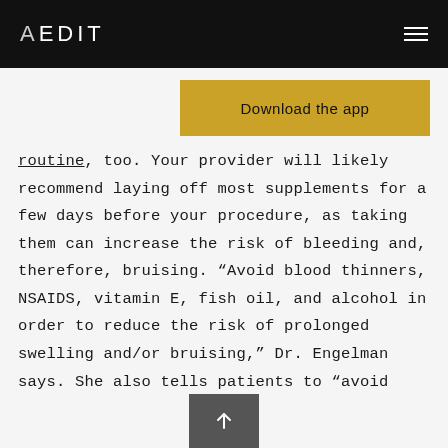AEDIT
Download the app
routine, too. Your provider will likely recommend laying off most supplements for a few days before your procedure, as taking them can increase the risk of bleeding and, therefore, bruising. “Avoid blood thinners, NSAIDS, vitamin E, fish oil, and alcohol in order to reduce the risk of prolonged swelling and/or bruising,” Dr. Engelman says. She also tells patients to “avoid facial or body massages for up to 48 hours” before lip filler injections.